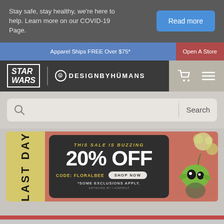Stay safe, stay healthy, we're here to help. Learn more on our COVID-19 Page.
Read more
Apparel Ships FREE Over $75*
Open A Store
[Figure (logo): Star Wars logo and DesignByHumans logo in navigation bar with cart and menu icons]
Search
[Figure (infographic): Last Day sale banner: 20% OFF, Code: FLORALBEE, Shop Now button, *Some exclusions apply. Artwork by I KIMPRUT. Features illustrated character on right side with floral elements.]